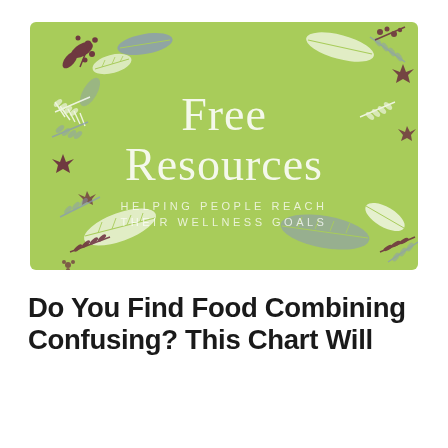[Figure (illustration): Green rectangular banner with botanical leaf and plant decorations in white, purple/blue, and dark maroon colors around the border. Center text reads 'Free Resources' in large white serif font, with 'HELPING PEOPLE REACH THEIR WELLNESS GOALS' in smaller spaced white capital letters below.]
Do You Find Food Combining Confusing? This Chart Will